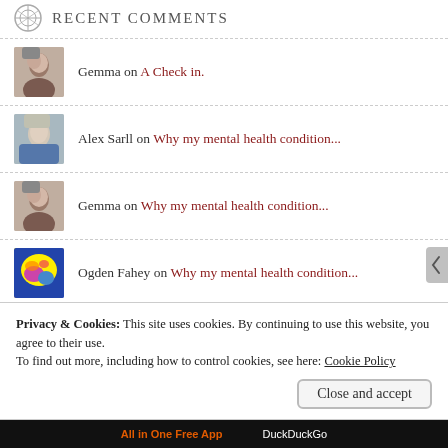Recent Comments
Gemma on A Check in.
Alex Sarll on Why my mental health condition...
Gemma on Why my mental health condition...
Ogden Fahey on Why my mental health condition...
Privacy & Cookies: This site uses cookies. By continuing to use this website, you agree to their use.
To find out more, including how to control cookies, see here: Cookie Policy
Close and accept